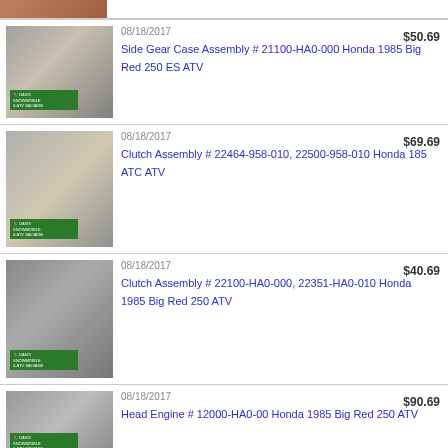[Figure (photo): Partial photo of item from Dan's Snowmobile & ATV Salvage (top crop)]
08/18/2017  $50.69  Side Gear Case Assembly # 21100-HA0-000 Honda 1985 Big Red 250 ES ATV
08/18/2017  $69.69  Clutch Assembly # 22464-958-010, 22500-958-010 Honda 185 ATC ATV
08/18/2017  $40.69  Clutch Assembly # 22100-HA0-000, 22351-HA0-010 Honda 1985 Big Red 250 ATV
08/18/2017  $90.69  Head Engine # 12000-HA0-00 Honda 1985 Big Red 250 ATV